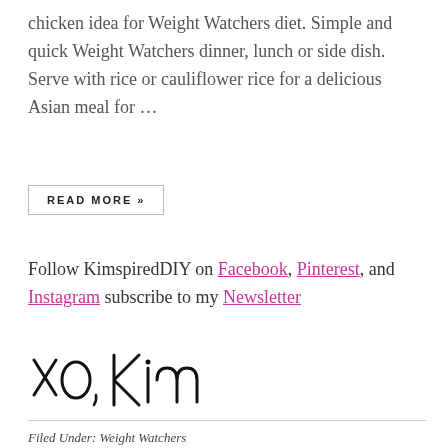chicken idea for Weight Watchers diet. Simple and quick Weight Watchers dinner, lunch or side dish. Serve with rice or cauliflower rice for a delicious Asian meal for ...
READ MORE »
Follow KimspiredDIY on Facebook, Pinterest, and Instagram subscribe to my Newsletter
[Figure (illustration): Handwritten signature reading 'xo, Kim' in cursive script]
Filed Under: Weight Watchers
Tagged With: easy orange chicken, healthy orange chicken, homemade orange chicken weight watchers, how to make orange chicken, orange chicken how to make, weight watchers 5 ingredient orange chicken, weight watchers chinese food, weight watchers orange chicken, weight watchers orange chicken chinese...